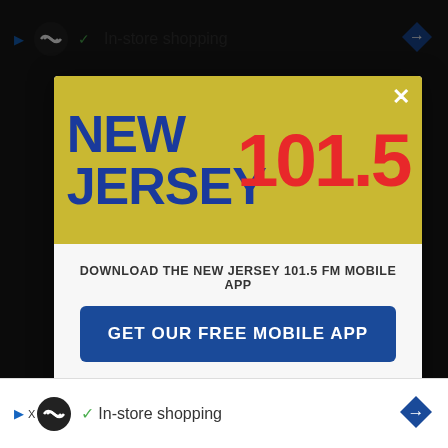[Figure (screenshot): Mobile browser screenshot showing a popup modal for New Jersey 101.5 FM radio station app download, with a yellow branded header, blue CTA button, and Amazon Alexa integration notice. Background shows dimmed browser content with ad bars at top and bottom.]
NEW JERSEY 101.5
DOWNLOAD THE NEW JERSEY 101.5 FM MOBILE APP
GET OUR FREE MOBILE APP
Also listen on:  amazon alexa